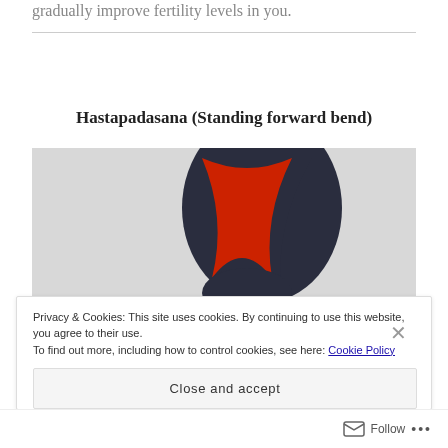gradually improve fertility levels in you.
Hastapadasana (Standing forward bend)
[Figure (photo): Person performing Hastapadasana (Standing forward bend) yoga pose, wearing red top and dark pants, bending forward with head down against a grey background.]
Privacy & Cookies: This site uses cookies. By continuing to use this website, you agree to their use.
To find out more, including how to control cookies, see here: Cookie Policy
Close and accept
Follow ...